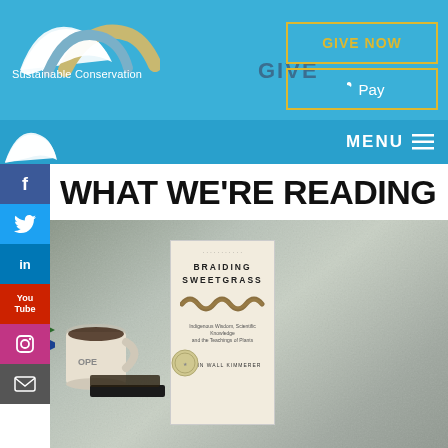[Figure (logo): Sustainable Conservation logo with arc design and text]
GIVE
GIVE NOW
Apple Pay
MENU
WHAT WE'RE READING
[Figure (photo): Book 'Braiding Sweetgrass' by Robin Wall Kimmerer on a textured surface with coffee mug, notebook, glasses, and pens]